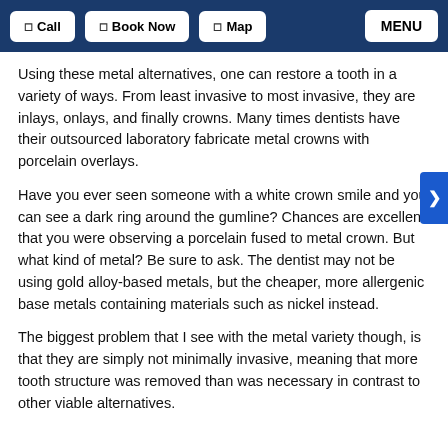Call | Book Now | Map | MENU
Using these metal alternatives, one can restore a tooth in a variety of ways. From least invasive to most invasive, they are inlays, onlays, and finally crowns. Many times dentists have their outsourced laboratory fabricate metal crowns with porcelain overlays.
Have you ever seen someone with a white crown smile and you can see a dark ring around the gumline? Chances are excellent that you were observing a porcelain fused to metal crown. But what kind of metal? Be sure to ask. The dentist may not be using gold alloy-based metals, but the cheaper, more allergenic base metals containing materials such as nickel instead.
The biggest problem that I see with the metal variety though, is that they are simply not minimally invasive, meaning that more tooth structure was removed than was necessary in contrast to other viable alternatives.